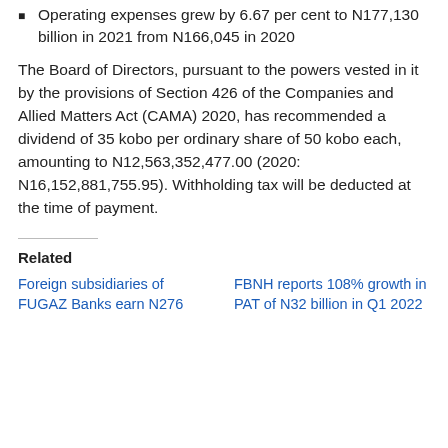Operating expenses grew by 6.67 per cent to N177,130 billion in 2021 from N166,045 in 2020
The Board of Directors, pursuant to the powers vested in it by the provisions of Section 426 of the Companies and Allied Matters Act (CAMA) 2020, has recommended a dividend of 35 kobo per ordinary share of 50 kobo each, amounting to N12,563,352,477.00 (2020: N16,152,881,755.95). Withholding tax will be deducted at the time of payment.
Related
Foreign subsidiaries of FUGAZ Banks earn N276
FBNH reports 108% growth in PAT of N32 billion in Q1 2022